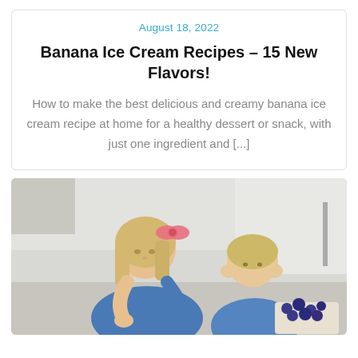August 18, 2022
Banana Ice Cream Recipes – 15 New Flavors!
How to make the best delicious and creamy banana ice cream recipe at home for a healthy dessert or snack, with just one ingredient and [...]
[Figure (photo): Two young children in blue outfits working together in a bright kitchen; a girl with a pink bow in her hair and a younger boy, with blueberries visible in the foreground.]